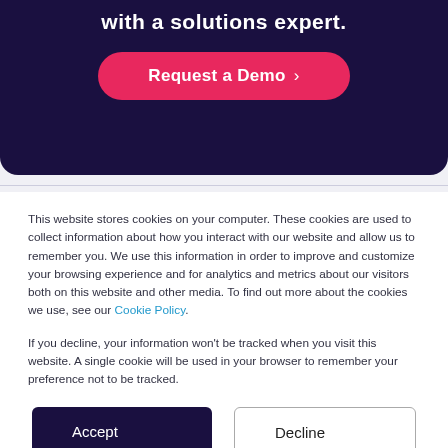with a solutions expert.
[Figure (screenshot): Dark navy rounded banner with text 'with a solutions expert.' and a pink rounded 'Request a Demo ›' button]
This website stores cookies on your computer. These cookies are used to collect information about how you interact with our website and allow us to remember you. We use this information in order to improve and customize your browsing experience and for analytics and metrics about our visitors both on this website and other media. To find out more about the cookies we use, see our Cookie Policy.
If you decline, your information won't be tracked when you visit this website. A single cookie will be used in your browser to remember your preference not to be tracked.
Accept
Decline